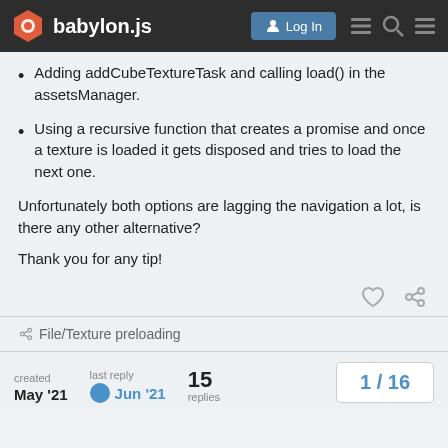babylon.js — Log In
Adding addCubeTextureTask and calling load() in the assetsManager.
Using a recursive function that creates a promise and once a texture is loaded it gets disposed and tries to load the next one.
Unfortunately both options are lagging the navigation a lot, is there any other alternative?
Thank you for any tip!
File/Texture preloading
created May '21   last reply Jun '21   15 replies   1 / 16